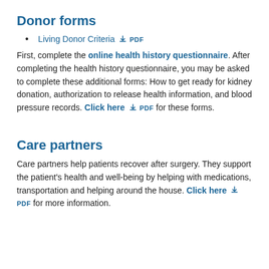Donor forms
Living Donor Criteria PDF
First, complete the online health history questionnaire. After completing the health history questionnaire, you may be asked to complete these additional forms: How to get ready for kidney donation, authorization to release health information, and blood pressure records. Click here PDF for these forms.
Care partners
Care partners help patients recover after surgery. They support the patient's health and well-being by helping with medications, transportation and helping around the house. Click here PDF for more information.